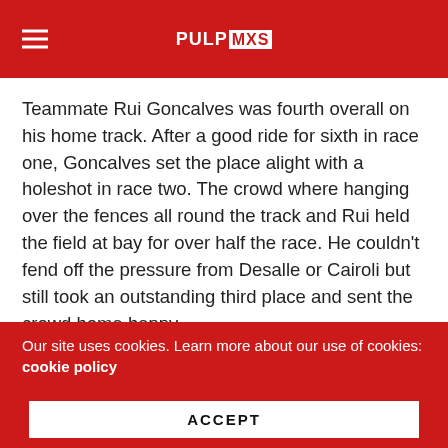PULPMXS
Teammate Rui Goncalves was fourth overall on his home track. After a good ride for sixth in race one, Goncalves set the place alight with a holeshot in race two. The crowd where hanging over the fences all round the track and Rui held the field at bay for over half the race. He couldn't fend off the pressure from Desalle or Cairoli but still took an outstanding third place and sent the crowd home happy.
Third in the championship Steven Frossard rode a fine first moto as he challenged Desalle for the lead before succumbing to his hand injury and settling for third. Race two didn't go to plan, a terrible start saw Frossard working
Our site uses cookies. Learn more about our use of cookies: cookie policy
ACCEPT